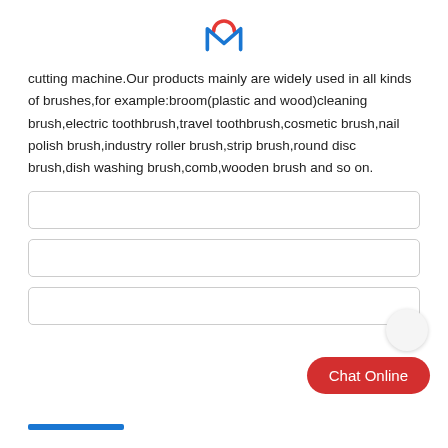[Figure (logo): Company logo with red arc and blue letter M on white background]
cutting machine.Our products mainly are widely used in all kinds of brushes,for example:broom(plastic and wood)cleaning brush,electric toothbrush,travel toothbrush,cosmetic brush,nail polish brush,industry roller brush,strip brush,round disc brush,dish washing brush,comb,wooden brush and so on.